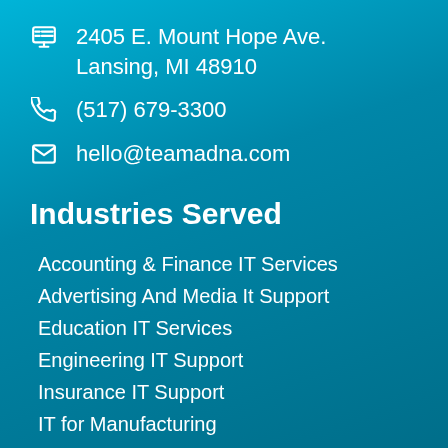2405 E. Mount Hope Ave. Lansing, MI 48910
(517) 679-3300
hello@teamadna.com
Industries Served
Accounting & Finance IT Services
Advertising And Media It Support
Education IT Services
Engineering IT Support
Insurance IT Support
IT for Manufacturing
Legal IT Services